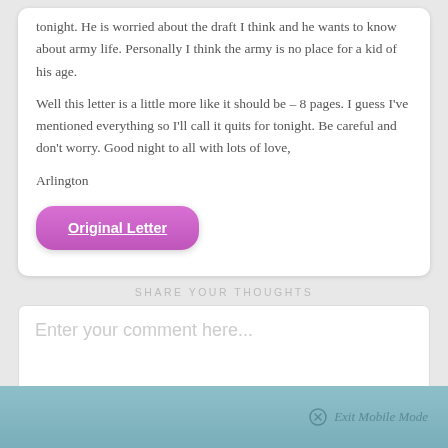tonight. He is worried about the draft I think and he wants to know about army life. Personally I think the army is no place for a kid of his age.
Well this letter is a little more like it should be – 8 pages. I guess I've mentioned everything so I'll call it quits for tonight. Be careful and don't worry. Good night to all with lots of love,
Arlington
[Figure (other): Purple/pink rounded button labeled 'Original Letter' with underline]
SHARE YOUR THOUGHTS
Enter your comment here...
Exit Mobile Mode